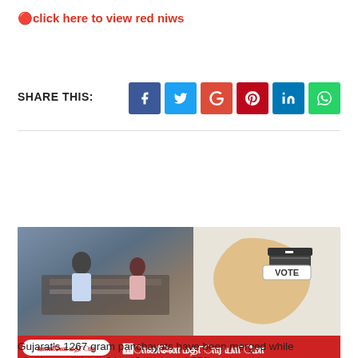🔴click here to view red niws
SHARE THIS:
[Figure (screenshot): Social share buttons: Facebook (blue), Twitter (light blue), Google+ (red), Pinterest (dark red), LinkedIn (blue), WhatsApp (green)]
[Figure (photo): News image showing people at a voting/registration desk on the left half, and a map of Gujarat with a vote box illustration on the right half. Bottom bar with Gujarati text reading 'જાણીલો મતદાર યાદીમા']
Gujarat's 1267 gram panchayats have been merged while elections will be held on 8 thousand 851 seats.